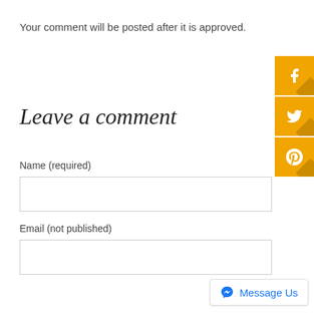Your comment will be posted after it is approved.
Leave a comment
Name (required)
Email (not published)
[Figure (infographic): Orange Facebook share button with 'f' icon and diagonal shadow]
[Figure (infographic): Orange Twitter share button with bird icon and diagonal shadow]
[Figure (infographic): Orange Pinterest share button with 'P' icon and diagonal shadow]
[Figure (infographic): Facebook Messenger 'Message Us' chat button]